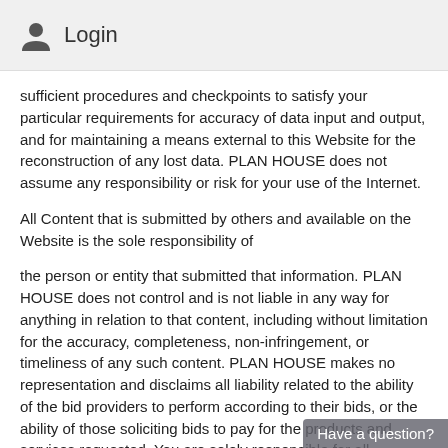Login
sufficient procedures and checkpoints to satisfy your particular requirements for accuracy of data input and output, and for maintaining a means external to this Website for the reconstruction of any lost data. PLAN HOUSE does not assume any responsibility or risk for your use of the Internet.
All Content that is submitted by others and available on the Website is the sole responsibility of
the person or entity that submitted that information. PLAN HOUSE does not control and is not liable in any way for anything in relation to that content, including without limitation for the accuracy, completeness, non-infringement, or timeliness of any such content. PLAN HOUSE makes no representation and disclaims all liability related to the ability of the bid providers to perform according to their bids, or the ability of those soliciting bids to pay for the products and services requested. You are solely responsible for all interactions you (and anyone using your username or account) have with the users of the Services. If you have a dispute with one or more users of the Services, you hereby agree to release